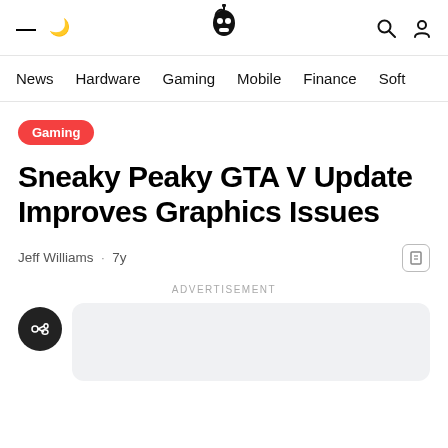≡ ☾ [Logo] 🔍 👤
News  Hardware  Gaming  Mobile  Finance  Soft
Gaming
Sneaky Peaky GTA V Update Improves Graphics Issues
Jeff Williams · 7y
ADVERTISEMENT